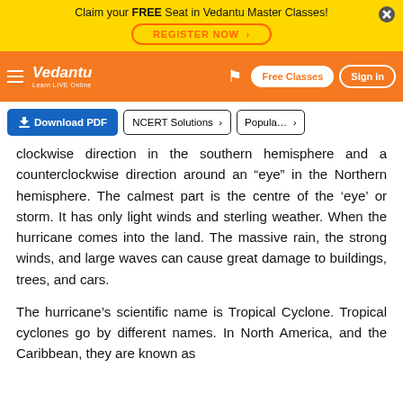Claim your FREE Seat in Vedantu Master Classes! REGISTER NOW
[Figure (logo): Vedantu website navigation bar with logo, bookmark icon, Free Classes button, and Sign in button on orange background]
[Figure (screenshot): Action bar with Download PDF button, NCERT Solutions button, and Popular button]
clockwise direction in the southern hemisphere and a counterclockwise direction around an “eye” in the Northern hemisphere. The calmest part is the centre of the ‘eye’ or storm. It has only light winds and sterling weather. When the hurricane comes into the land. The massive rain, the strong winds, and large waves can cause great damage to buildings, trees, and cars.
The hurricane’s scientific name is Tropical Cyclone. Tropical cyclones go by different names. In North America, and the Caribbean, they are known as